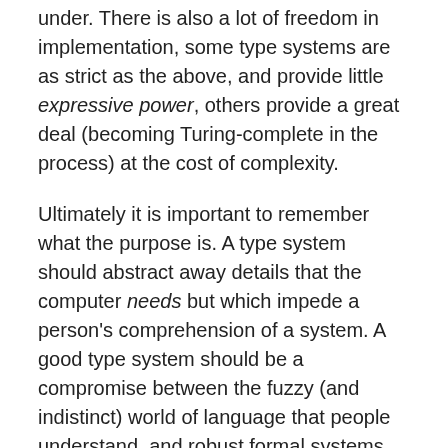under. There is also a lot of freedom in implementation, some type systems are as strict as the above, and provide little expressive power, others provide a great deal (becoming Turing-complete in the process) at the cost of complexity.
Ultimately it is important to remember what the purpose is. A type system should abstract away details that the computer needs but which impede a person's comprehension of a system. A good type system should be a compromise between the fuzzy (and indistinct) world of language that people understand, and robust formal systems that computers can use.
Defining a Type
In QIIME 2 there are 3 kinds of types, all of which